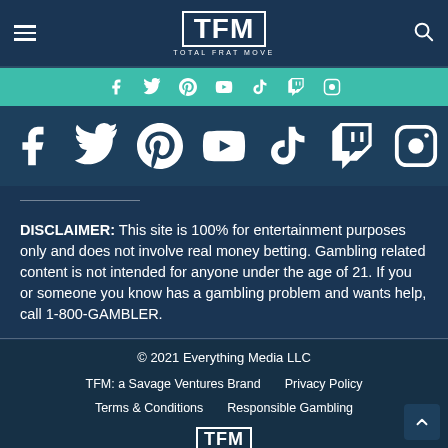TFM TOTAL FRAT MOVE
[Figure (infographic): Teal social media bar with icons: Facebook, Twitter, Pinterest, YouTube, TikTok, Twitch, Instagram]
[Figure (infographic): Large white social media icons on dark blue background: Facebook, Twitter, Pinterest, YouTube, TikTok, Twitch, Instagram]
DISCLAIMER: This site is 100% for entertainment purposes only and does not involve real money betting. Gambling related content is not intended for anyone under the age of 21. If you or someone you know has a gambling problem and wants help, call 1-800-GAMBLER.
© 2021 Everything Media LLC
TFM: a Savage Ventures Brand    Privacy Policy
Terms & Conditions    Responsible Gambling